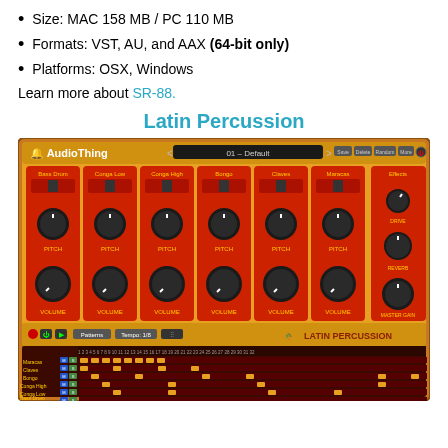Size: MAC 158 MB / PC 110 MB
Formats: VST, AU, and AAX (64-bit only)
Platforms: OSX, Windows
Learn more about SR-88.
Latin Percussion
[Figure (screenshot): AudioThing Latin Percussion VST plugin interface showing a yellow/gold hardware drum machine with red channel strips for Bass Drum, Conga Low, Conga High, Bongo, Claves, Maracas, and Effects sections with knobs for Pitch and Volume, plus a step sequencer at the bottom showing 32-step patterns for Maracas, Claves, Bongo, Conga High, Conga Low, and Bass Drum tracks.]